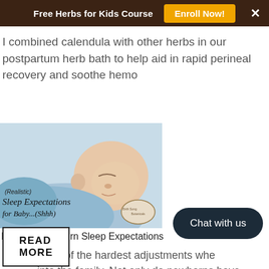Free Herbs for Kids Course  Enroll Now!  ×
I combined calendula with other herbs in our postpartum herb bath to help aid in rapid perineal recovery and soothe hemo
READ MORE
[Figure (photo): Sleeping newborn baby in blue clothing with text overlay reading '(Realistic) Sleep Expectations for Baby...(Shhh)' and Birth Song Botanicals logo]
Realistic Newborn Sleep Expectations
Sleep is one of the hardest adjustments whe... into the family. Not only do newborns have mo...
READ MORE